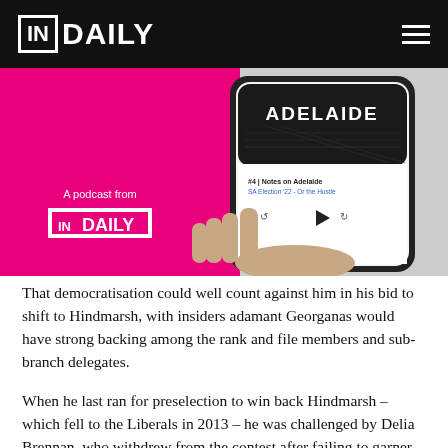IN DAILY
[Figure (photo): InDaily podcast promotional image showing a hand holding a smartphone displaying a podcast player screen with 'ADELAIDE' text and '#4 Notes on Adelaide - SA Election 22 - Or the Hustle' episode on a pink background with InDaily logo]
That democratisation could well count against him in his bid to shift to Hindmarsh, with insiders adamant Georganas would have strong backing among the rank and file members and sub-branch delegates.
When he last ran for preselection to win back Hindmarsh – which fell to the Liberals in 2013 – he was challenged by Delia Brennan, who withdrew from the contest after failing to garner any significant support.